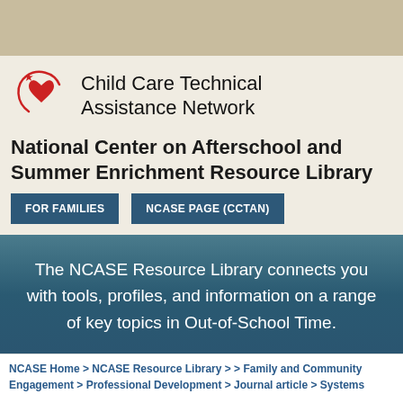[Figure (logo): Child Care Technical Assistance Network logo with red heart and star swirl]
Child Care Technical Assistance Network
National Center on Afterschool and Summer Enrichment Resource Library
FOR FAMILIES
NCASE PAGE (CCTAN)
The NCASE Resource Library connects you with tools, profiles, and information on a range of key topics in Out-of-School Time.
NCASE Home > NCASE Resource Library > > Family and Community Engagement > Professional Development > Journal article > Systems